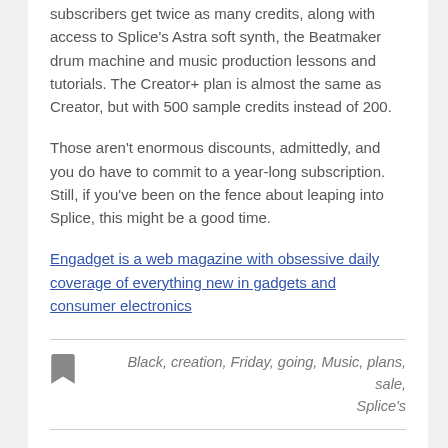subscribers get twice as many credits, along with access to Splice's Astra soft synth, the Beatmaker drum machine and music production lessons and tutorials. The Creator+ plan is almost the same as Creator, but with 500 sample credits instead of 200.
Those aren't enormous discounts, admittedly, and you do have to commit to a year-long subscription. Still, if you've been on the fence about leaping into Splice, this might be a good time.
Engadget is a web magazine with obsessive daily coverage of everything new in gadgets and consumer electronics
Black, creation, Friday, going, Music, plans, sale, Splice's
Apple Watch Series 7 down to lowest-ever price for Black